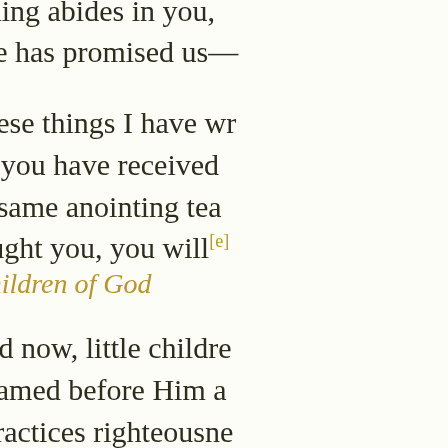beginning abides in you, that He has promised us—
26 These things I have written to you concerning those which you have received from Him abides in you, and as the same anointing teaches you concerning all things, has taught you, you will[e]
The Children of God
28 And now, little children, abide in Him, that when He appears, we may have confidence and not be ashamed before Him at His coming. 29 If you know that He is righteous, you know that everyone who practices righteousness is born of Him.
1 John 3 New King James
3 Behold what manner of love the Father has bestowed on us, that we should be called children of God![a] Therefore the world does not know us, because it did not know Him. 2 Beloved, now we are children of God; and i